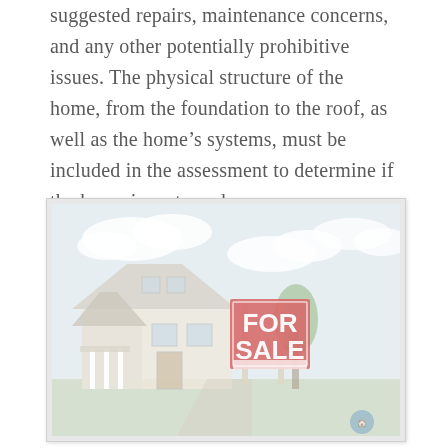suggested repairs, maintenance concerns, and any other potentially prohibitive issues. The physical structure of the home, from the foundation to the roof, as well as the home's systems, must be included in the assessment to determine if the home is up to code.
[Figure (photo): A residential house with a red FOR SALE sign in front, photographed under a partly cloudy sky. The image has a faded/washed-out appearance.]